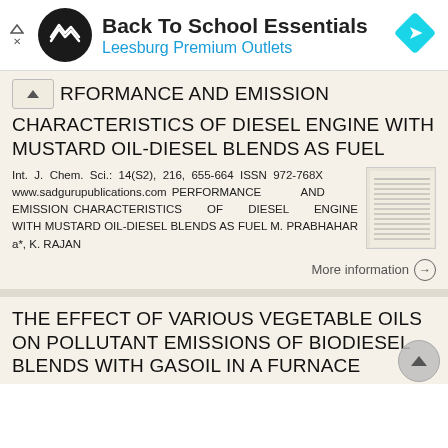[Figure (other): Ad banner: Back To School Essentials - Leesburg Premium Outlets with circular logo and navigation arrow icon]
PERFORMANCE AND EMISSION CHARACTERISTICS OF DIESEL ENGINE WITH MUSTARD OIL-DIESEL BLENDS AS FUEL
Int. J. Chem. Sci.: 14(S2), 216, 655-664 ISSN 972-768X www.sadgurupublications.com PERFORMANCE AND EMISSION CHARACTERISTICS OF DIESEL ENGINE WITH MUSTARD OIL-DIESEL BLENDS AS FUEL M. PRABHAHAR a*, K. RAJAN
More information →
THE EFFECT OF VARIOUS VEGETABLE OILS ON POLLUTANT EMISSIONS OF BIODIESEL BLENDS WITH GASOIL IN A FURNACE